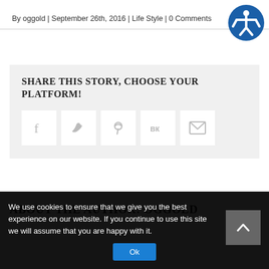By oggold | September 26th, 2016 | Life Style | 0 Comments
[Figure (illustration): Accessibility icon button — circular blue icon with a stylized human figure]
SHARE THIS STORY, CHOOSE YOUR PLATFORM!
[Figure (infographic): Row of social sharing icon buttons: Facebook, Twitter, Pinterest, VK, Email]
ABOUT THE AUTHOR: OGGOLD
We use cookies to ensure that we give you the best experience on our website. If you continue to use this site we will assume that you are happy with it.
[Figure (illustration): Ok button (blue) and scroll-to-top button (grey with up arrow)]